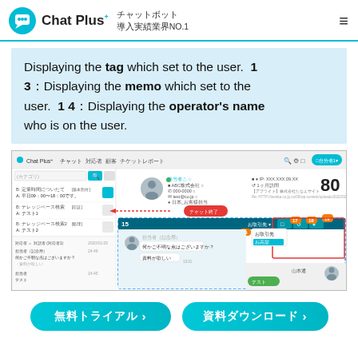Chat Plus+ チャットボット 導入実績業界NO.1
Displaying the tag which set to the user. 1 3：Displaying the memo which set to the user. 1 4：Displaying the operator's name who is on the user.
[Figure (screenshot): Chat Plus application interface screenshot showing chat window with numbered callouts 15, 16, 17, 18, 19 and a number 80 displayed]
無料トライアル ＞　資料ダウンロード ＞